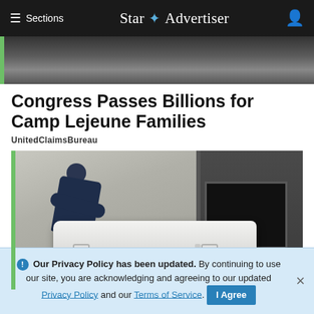≡ Sections  Star ✦ Advertiser
[Figure (photo): Top cropped photo strip showing a dark background scene]
Congress Passes Billions for Camp Lejeune Families
UnitedClaimsBureau
[Figure (photo): A person in a dark blue jacket pushing a white coffin/casket into what appears to be a crematorium furnace]
ℹ Our Privacy Policy has been updated. By continuing to use our site, you are acknowledging and agreeing to our updated Privacy Policy and our Terms of Service. I Agree